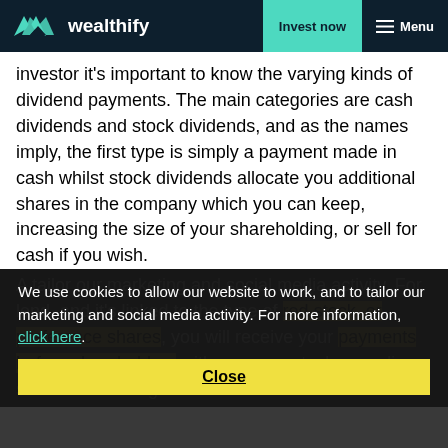wealthify | Invest now | Menu
investor it's important to know the varying kinds of dividend payments. The main categories are cash dividends and stock dividends, and as the names imply, the first type is simply a payment made in cash whilst stock dividends allocate you additional shares in the company which you can keep, increasing the size of your shareholding, or sell for cash if you wish.
A tailor our marketing and social media activity. For lend, and it's linked to the type of stock you hold. If you hold preferred stock, or preference shares, you will receive your payments before shareholders with common stock, or ordinary shares. One thing to note
We use cookies to allow our website to work, and to tailor our marketing and social media activity. For more information, click here. Close